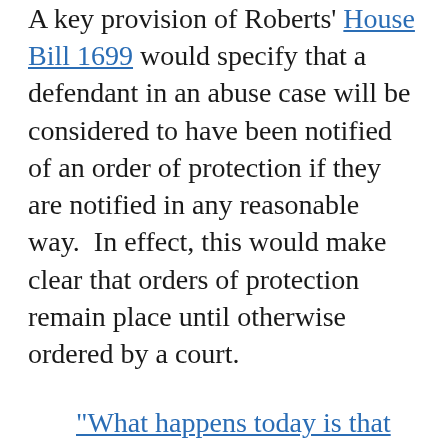A key provision of Roberts' House Bill 1699 would specify that a defendant in an abuse case will be considered to have been notified of an order of protection if they are notified in any reasonable way.  In effect, this would make clear that orders of protection remain place until otherwise ordered by a court.
"What happens today is that when somebody files for an ex parte order and then a hearing is scheduled the temporary order stays in effect until the hearing.  If the abuser chooses not to show up in court and later pleads ignorance, he didn't know what went on in court, there have been some successful defenses to violating the order because of this so-called ignorance.  What this bill does is say...